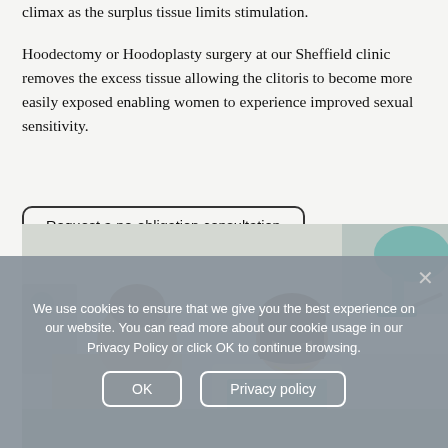climax as the surplus tissue limits stimulation.
Hoodectomy or Hoodoplasty surgery at our Sheffield clinic removes the excess tissue allowing the clitoris to become more easily exposed enabling women to experience improved sexual sensitivity.
Request a no-obligation consultation
[Figure (photo): Medical consultation scene: two women in a clinical setting, one appearing to be a patient with hair up, the other a medical professional in white/teal attire, with medical equipment including a teal lamp visible in background.]
We use cookies to ensure that we give you the best experience on our website. You can read more about our cookie usage in our Privacy Policy or click OK to continue browsing.
OK
Privacy policy